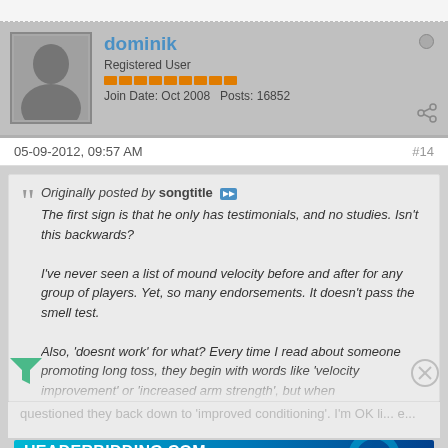dominik
Registered User
Join Date: Oct 2008  Posts: 16852
05-09-2012, 09:57 AM  #14
Originally posted by songtitle
The first sign is that he only has testimonials, and no studies. Isn't this backwards?

I've never seen a list of mound velocity before and after for any group of players. Yet, so many endorsements. It doesn't pass the smell test.

Also, 'doesnt work' for what? Every time I read about someone promoting long toss, they begin with words like 'velocity improvement' or 'increased arm strength', but when questioned they back down to 'improved conditioning'. I'm OK li... e...
[Figure (screenshot): HEADERBIDDING.COM advertisement banner - Your source for all things programmatic advertising.]
That is why I recommend that any dad get a radar gun and measure his son's progress, on an actual mound against any